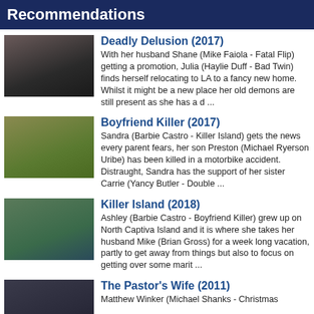Recommendations
[Figure (photo): Movie still from Deadly Delusion (2017) showing a woman with long hair screaming or distressed]
Deadly Delusion (2017)
With her husband Shane (Mike Faiola - Fatal Flip) getting a promotion, Julia (Haylie Duff - Bad Twin) finds herself relocating to LA to a fancy new home. Whilst it might be a new place her old demons are still present as she has a d ...
[Figure (photo): Movie still from Boyfriend Killer (2017) showing a brunette woman in a yellow top]
Boyfriend Killer (2017)
Sandra (Barbie Castro - Killer Island) gets the news every parent fears, her son Preston (Michael Ryerson Uribe) has been killed in a motorbike accident. Distraught, Sandra has the support of her sister Carrie (Yancy Butler - Double ...
[Figure (photo): Movie still from Killer Island (2018) showing a man and woman outdoors, woman wearing a hat]
Killer Island (2018)
Ashley (Barbie Castro - Boyfriend Killer) grew up on North Captiva Island and it is where she takes her husband Mike (Brian Gross) for a week long vacation, partly to get away from things but also to focus on getting over some marit ...
[Figure (photo): Movie still from The Pastor's Wife (2011) showing a man in dark setting]
The Pastor's Wife (2011)
Matthew Winker (Michael Shanks - Christmas